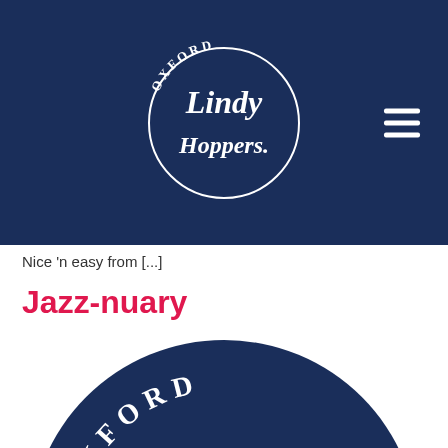Oxford Lindy Hoppers
Nice ’n easy from […]
Jazz-nuary
[Figure (logo): Oxford Lindy Hoppers circular logo on dark navy background with white script lettering showing 'OXFORD' arched at top and 'Lindy Hoppers' in large cursive script in the center]